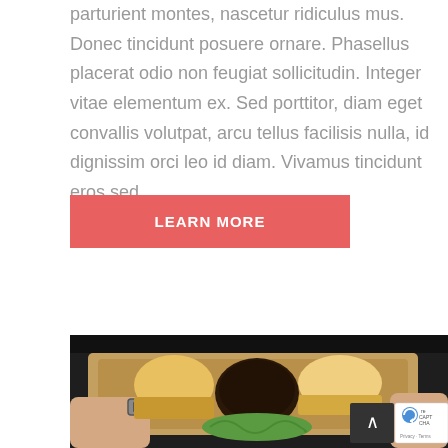parturient montes, nascetur ridiculus mus. Donec tincidunt posuere ornare. Phasellus placerat odio non feugiat sollicitudin. Integer vitae elementum ex. Sed porttitor, diam eget convallis volutpat, arcu tellus facilisis nulla, id dignissim orci leo id diam. Vivamus tincidunt eros sed
LEARN MORE
[Figure (photo): Overhead view of a burger being assembled on a wooden cutting board, with two bun halves, a dark patty, and green lettuce visible. Person's hands visible at the edges, one wearing a watch.]